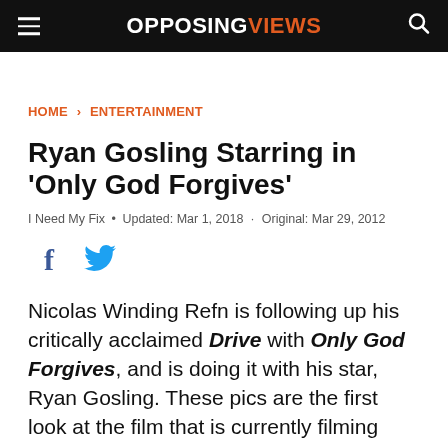OPPOSINGVIEWS
HOME › ENTERTAINMENT
Ryan Gosling Starring in 'Only God Forgives'
I Need My Fix • Updated: Mar 1, 2018 · Original: Mar 29, 2012
[Figure (other): Social share icons: Facebook and Twitter]
Nicolas Winding Refn is following up his critically acclaimed Drive with Only God Forgives, and is doing it with his star, Ryan Gosling. These pics are the first look at the film that is currently filming (and apparently, according to his Twitter account